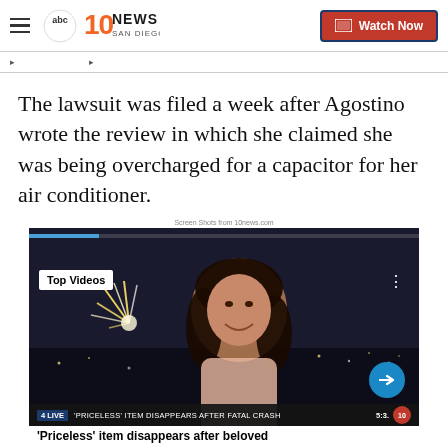10 News San Diego | Watch Now
The lawsuit was filed a week after Agostino wrote the review in which she claimed she was being overcharged for a capacitor for her air conditioner.
Screen Shots from 10news.com
[Figure (screenshot): Video player screenshot showing 'Top Videos' label with a woman smiling outdoors at night with fireworks, and a lower ticker reading 'PRICELESS ITEM DISAPPEARS AFTER FATAL CRASH' and 'Priceless item disappears after beloved']